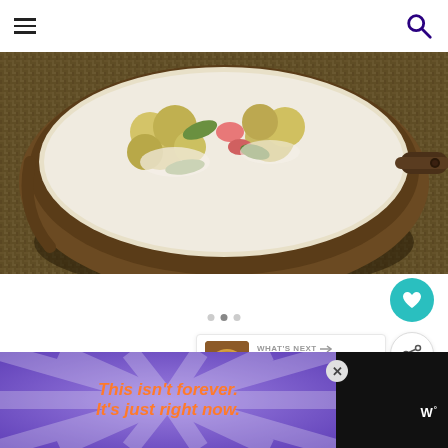Navigation header with hamburger menu and search icon
[Figure (photo): Close-up food photo of a bowl containing a creamy salad with vegetables (cauliflower, tomato, herbs) in a dark ceramic bowl on a burlap/woven fabric surface]
[Figure (screenshot): White card area with loading dots indicator, heart/favorite button (teal circle), share button (white circle), and 'What's Next' recommendation card showing 'Harissa Roast Chicken' with thumbnail]
[Figure (infographic): Advertisement banner: purple background with orange ray burst design, text 'This isn't forever. It's just right now.' in orange italic font, with close button and 'W degree' logo on dark background]